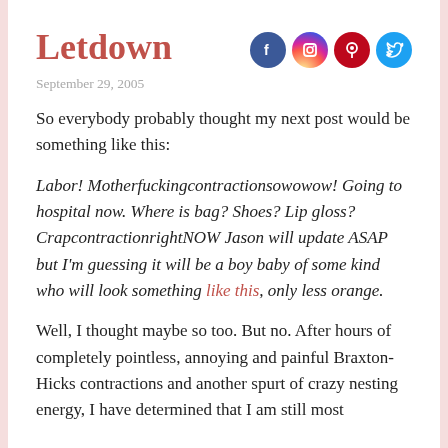Letdown
September 29, 2005
So everybody probably thought my next post would be something like this:
Labor! Motherfuckingcontractionsowowow! Going to hospital now. Where is bag? Shoes? Lip gloss? CrapcontractionrightNOW Jason will update ASAP but I'm guessing it will be a boy baby of some kind who will look something like this, only less orange.
Well, I thought maybe so too. But no. After hours of completely pointless, annoying and painful Braxton-Hicks contractions and another spurt of crazy nesting energy, I have determined that I am still most